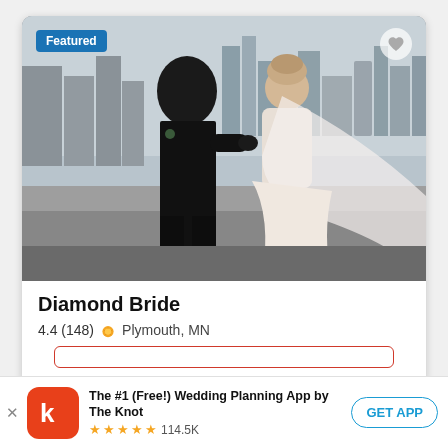[Figure (photo): Wedding couple about to kiss on a rooftop with city skyline in background. Groom in black suit, bride in white lace gown with long veil. 'Featured' badge in top-left corner, heart icon in top-right.]
Diamond Bride
4.4 (148) 🏅 Plymouth, MN
[Figure (screenshot): The Knot app banner at the bottom. App icon (red with white 'k'), title 'The #1 (Free!) Wedding Planning App by The Knot', 5 gold stars, 114.5K reviews, GET APP button.]